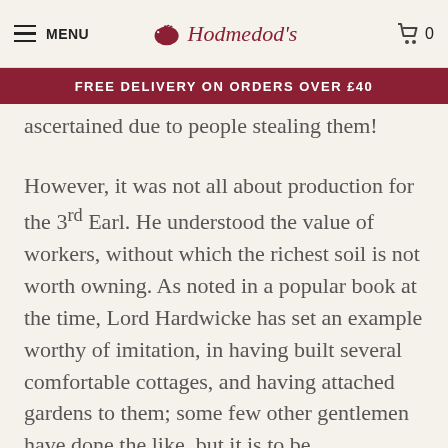MENU | Hodmedod's | 0
FREE DELIVERY ON ORDERS OVER £40
ascertained due to people stealing them!
However, it was not all about production for the 3rd Earl. He understood the value of workers, without which the richest soil is not worth owning. As noted in a popular book at the time, Lord Hardwicke has set an example worthy of imitation, in having built several comfortable cottages, and having attached gardens to them; some few other gentlemen have done the like, but it is to be